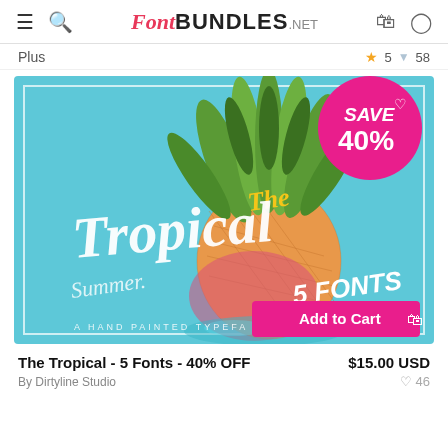FontBundles.net — navigation header with hamburger, search, logo, cart, and user icons
Plus ★ 5 ▼ 58
[Figure (photo): Promotional banner for 'The Tropical - 5 Fonts' product. Sky-blue background with a pineapple image. Text reads: The Tropical 5 Fonts, Summer, A Hand Painted Typefa[ce]. A hot-pink badge in top right corner reads 'SAVE 40%' with a heart icon. A pink 'Add to Cart' button with cart icon appears in lower right.]
The Tropical - 5 Fonts - 40% OFF
$15.00 USD
By Dirtyline Studio
♥ 46